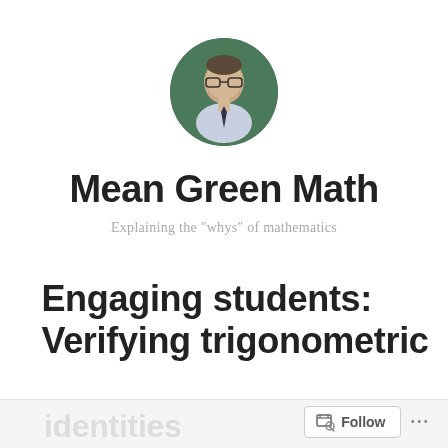[Figure (photo): Circular profile photo of a man with glasses against a green background]
Mean Green Math
Explaining the "whys" of mathematics
Engaging students: Verifying trigonometric identities
identities  Follow ...